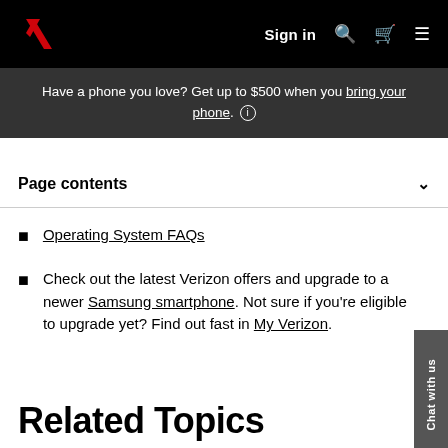Sign in
Have a phone you love? Get up to $500 when you bring your phone.
Page contents
Operating System FAQs
Check out the latest Verizon offers and upgrade to a newer Samsung smartphone. Not sure if you're eligible to upgrade yet? Find out fast in My Verizon.
Related Topics